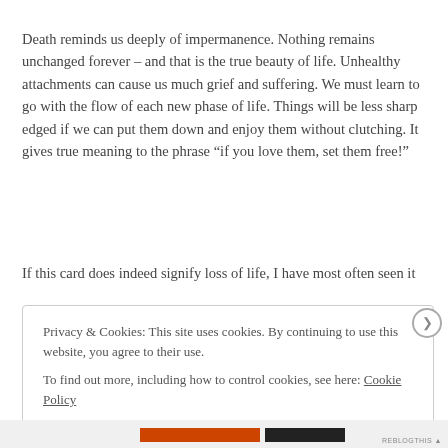Death reminds us deeply of impermanence. Nothing remains unchanged forever – and that is the true beauty of life. Unhealthy attachments can cause us much grief and suffering. We must learn to go with the flow of each new phase of life. Things will be less sharp edged if we can put them down and enjoy them without clutching. It gives true meaning to the phrase “if you love them, set them free!”
If this card does indeed signify loss of life, I have most often seen it
Privacy & Cookies: This site uses cookies. By continuing to use this website, you agree to their use.
To find out more, including how to control cookies, see here: Cookie Policy
Close and accept